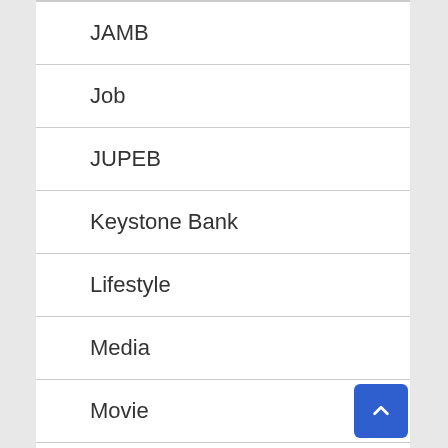JAMB
Job
JUPEB
Keystone Bank
Lifestyle
Media
Movie
Movie